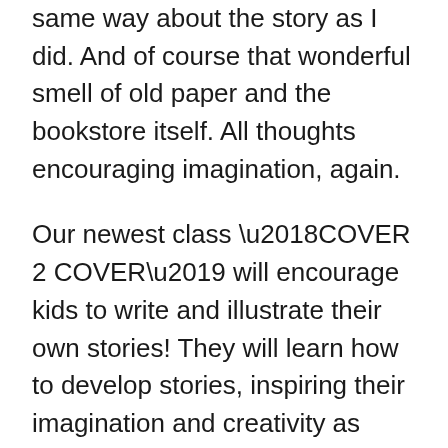wonder. And those readers were able if they felt the same way about the story as I did. And of course that wonderful smell of old paper and the bookstore itself. All thoughts encouraging imagination, again.
Our newest class ‘COVER 2 COVER’ will encourage kids to write and illustrate their own stories! They will learn how to develop stories, inspiring their imagination and creativity as they learn and further increase both writing and drawing skills. Thee classes will be held on Wednesdays at 4:30 – 6:00 and are for ages 8 to 14.
Imagination creates art, music, literature and other venues critical to a culture. These venues can open